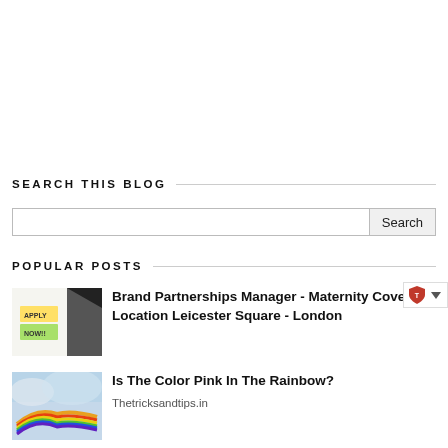SEARCH THIS BLOG
Search
POPULAR POSTS
Brand Partnerships Manager - Maternity Cover Location Leicester Square - London
Is The Color Pink In The Rainbow?
Thetricksandtips.in